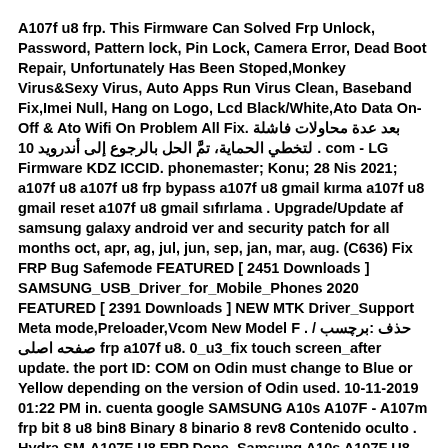A107f u8 frp. This Firmware Can Solved Frp Unlock, Password, Pattern lock, Pin Lock, Camera Error, Dead Boot Repair, Unfortunately Has Been Stoped,Monkey Virus&Sexy Virus, Auto Apps Run Virus Clean, Baseband Fix,Imei Null, Hang on Logo, Lcd Black/White,Ato Data On-Off & Ato Wifi On Problem All Fix. بعد عدة محاولات فاشلة لتخطي الحماية، تمَّ الحل بالرجوع إلى أندرويد 10 . com - LG Firmware KDZ ICCID. phonemaster; Konu; 28 Nis 2021; a107f u8 a107f u8 frp bypass a107f u8 gmail kırma a107f u8 gmail reset a107f u8 gmail sıfırlama . Upgrade/Update af samsung galaxy android ver and security patch for all months oct, apr, ag, jul, jun, sep, jan, mar, aug. (C636) Fix FRP Bug Safemode FEATURED [ 2451 Downloads ] SAMSUNG_USB_Driver_for_Mobile_Phones 2020 FEATURED [ 2391 Downloads ] NEW MTK Driver_Support Meta mode,Preloader,Vcom New Model F . حذف :برچسب / صفحه اصلی frp a107f u8. 0_u3_fix touch screen_after update. the port ID: COM on Odin must change to Blue or Yellow depending on the version of Odin used. 10-11-2019 01:22 PM in. cuenta google SAMSUNG A10s A107F - A107m frp bit 8 u8 bin8 Binary 8 binario 8 rev8 Contenido oculto . Hydra SM-A107F U8 FRP Done. Samsung A10s A107F U8 android 11 FRP Solution. Thread starter saharsoft; Start date Sep 21, 2021 . BYPASS FRP Google Account All